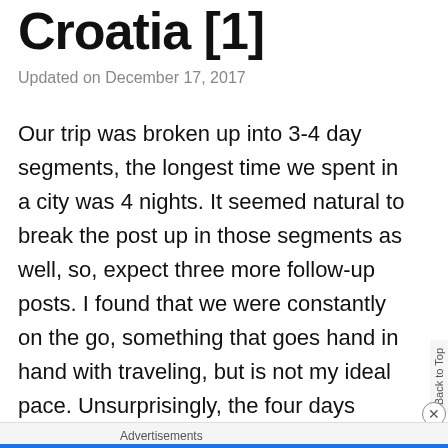Croatia [1]
Updated on December 17, 2017
Our trip was broken up into 3-4 day segments, the longest time we spent in a city was 4 nights. It seemed natural to break the post up in those segments as well, so, expect three more follow-up posts. I found that we were constantly on the go, something that goes hand in hand with traveling, but is not my ideal pace. Unsurprisingly, the four days spent in Munich were my favorite. We had enough time to slow down for a day in between all of our other planned activities and see/do most
Advertisements